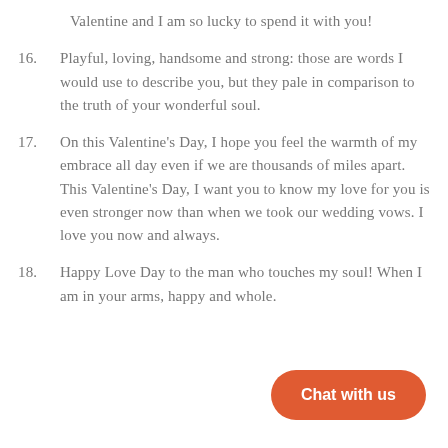Valentine and I am so lucky to spend it with you!
16. Playful, loving, handsome and strong: those are words I would use to describe you, but they pale in comparison to the truth of your wonderful soul.
17. On this Valentine’s Day, I hope you feel the warmth of my embrace all day even if we are thousands of miles apart. This Valentine’s Day, I want you to know my love for you is even stronger now than when we took our wedding vows. I love you now and always.
18. Happy Love Day to the man who touches my soul! When I am in your arms, happy and whole.
[Figure (other): Orange rounded rectangle button with text 'Chat with us']